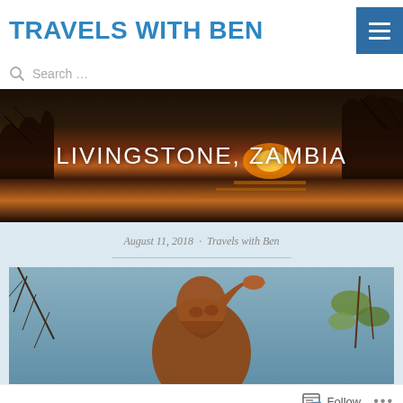TRAVELS WITH BEN
Search …
LIVINGSTONE, ZAMBIA
August 11, 2018 · Travels with Ben
[Figure (photo): Outdoor photo of a bronze statue of a person with hand raised to forehead, surrounded by bare branches and green leaves against a blue-grey sky, with warm orange tones]
Follow